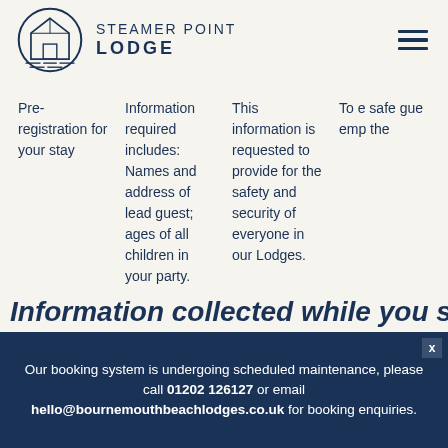STEAMER POINT LODGE
Pre-registration for your stay
Information required includes: Names and address of lead guest; ages of all children in your party.
This information is requested to provide for the safety and security of everyone in our Lodges.
To e safe gues emp the
Information collected while you stay
Our booking system is undergoing scheduled maintenance, please call 01202 126127 or email hello@bournemouthbeachlodges.co.uk for booking enquiries.